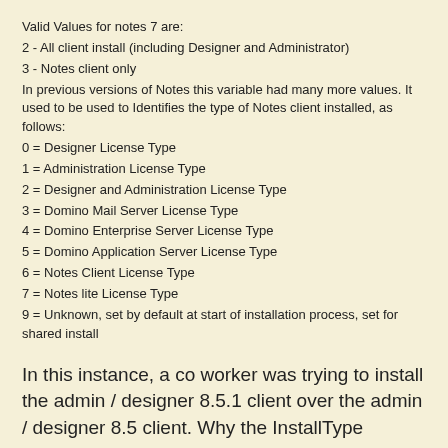Valid Values for notes 7 are:
2 - All client install (including Designer and Administrator)
3 - Notes client only
In previous versions of Notes this variable had many more values. It used to be used to Identifies the type of Notes client installed, as follows:
0 = Designer License Type
1 = Administration License Type
2 = Designer and Administration License Type
3 = Domino Mail Server License Type
4 = Domino Enterprise Server License Type
5 = Domino Application Server License Type
6 = Notes Client License Type
7 = Notes lite License Type
9 = Unknown, set by default at start of installation process, set for shared install
In this instance, a co worker was trying to install the admin / designer 8.5.1 client over the admin / designer 8.5 client. Why the InstallType needed to be changed from 2 to 6 is beyond me, but it works. IBM also has a tech note relating to this and they explain that the difference is between older versions and the 'all client' and 'client only'. Check the reference below under Upgrade. IBM's official fix for this is to uninstall Lotus Notes and install the correct package.